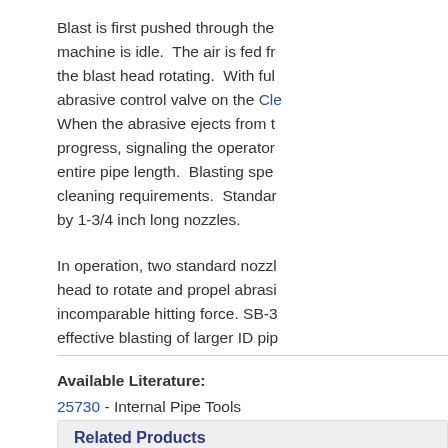Blast is first pushed through the machine is idle. The air is fed from the blast head rotating. With full abrasive control valve on the Cle When the abrasive ejects from t progress, signaling the operator entire pipe length. Blasting spe cleaning requirements. Standar by 1-3/4 inch long nozzles.
In operation, two standard nozz head to rotate and propel abras incomparable hitting force. SB-3 effective blasting of larger ID pip
Available Literature:
25730 - Internal Pipe Tools
Related Products